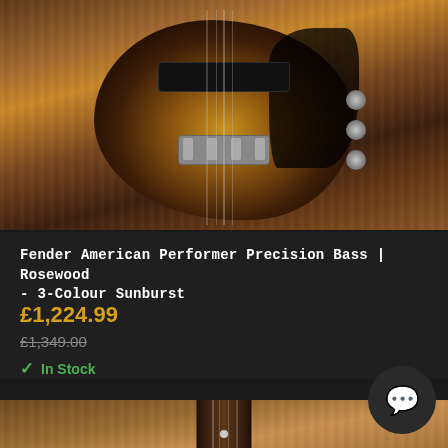[Figure (photo): Close-up photo of a Fender American Performer Precision Bass guitar body in 3-Colour Sunburst finish on a wood background, showing pickup, bridge, pickguard and knobs]
Fender American Performer Precision Bass | Rosewood - 3-Colour Sunburst
£1,224.99
£1,349.00
In Stock
[Figure (photo): Close-up photo of a Fender American Professional bass guitar neck and body in sunburst finish on a wood plank background, with pickguard visible and Fender branding label]